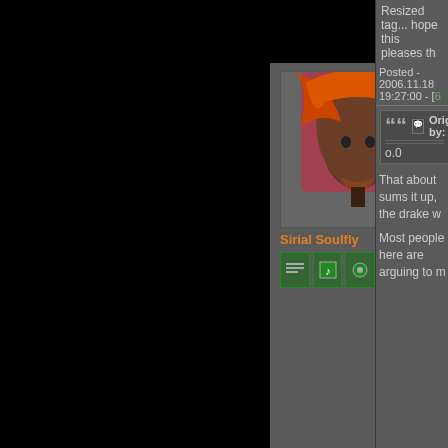Resized tag... hope this pleases th
Posted - 2006.11.18 19:27:00 - [6
[Figure (photo): Avatar of user Sirial Soulfly - female character with orange/red hair]
Sirial Soulfly
Originally by: 000
o.0
That about sums it up, the drake w
Most people here are arguing to m
Posted - 2006.11.18 19:36:00 - [7
[Figure (photo): Avatar of user Aki Yamato]
Aki Yamato
Originally by: Ma
Originally
Edited by: Aki Yama
Many people ty to from from other si Many people, eve bad ship.
I dont ... eh never heavy railgun skill